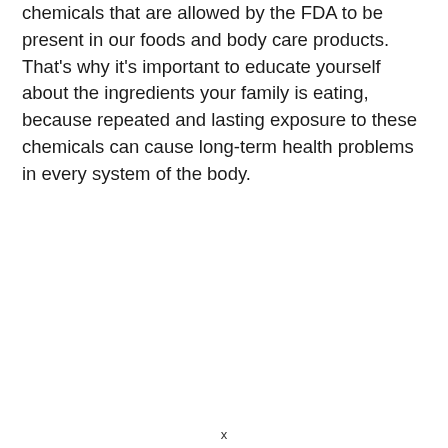chemicals that are allowed by the FDA to be present in our foods and body care products. That's why it's important to educate yourself about the ingredients your family is eating, because repeated and lasting exposure to these chemicals can cause long-term health problems in every system of the body.
x